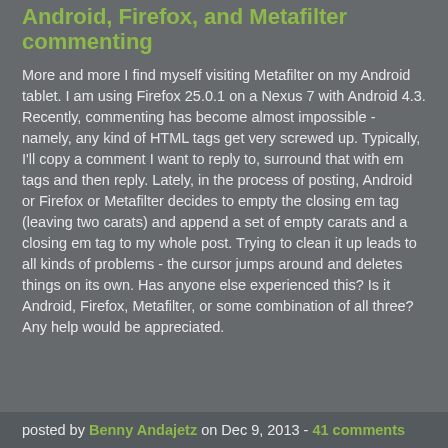Android, Firefox, and Metafilter commenting
More and more I find myself visiting Metafilter on my Android tablet. I am using Firefox 25.0.1 on a Nexus 7 with Android 4.3. Recently, commenting has become almost impossible - namely, any kind of HTML tags get very screwed up. Typically, I'll copy a comment I want to reply to, surround that with em tags and then reply. Lately, in the process of posting, Android or Firefox or Metafilter decides to empty the closing em tag (leaving two carats) and append a set of empty carats and a closing em tag to my whole post. Trying to clean it up leads to all kinds of problems - the cursor jumps around and deletes things on its own. Has anyone else experienced this? Is it Android, Firefox, Metafilter, or some combination of all three? Any help would be appreciated.
posted by Benny Andajetz on Dec 9, 2013 - 41 comments